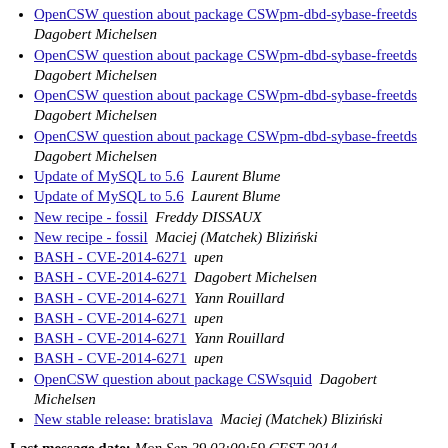OpenCSW question about package CSWpm-dbd-sybase-freetds  Dagobert Michelsen
OpenCSW question about package CSWpm-dbd-sybase-freetds  Dagobert Michelsen
OpenCSW question about package CSWpm-dbd-sybase-freetds  Dagobert Michelsen
OpenCSW question about package CSWpm-dbd-sybase-freetds  Dagobert Michelsen
Update of MySQL to 5.6  Laurent Blume
Update of MySQL to 5.6  Laurent Blume
New recipe - fossil  Freddy DISSAUX
New recipe - fossil  Maciej (Matchek) Bliziński
BASH - CVE-2014-6271  upen
BASH - CVE-2014-6271  Dagobert Michelsen
BASH - CVE-2014-6271  Yann Rouillard
BASH - CVE-2014-6271  upen
BASH - CVE-2014-6271  Yann Rouillard
BASH - CVE-2014-6271  upen
OpenCSW question about package CSWsquid  Dagobert Michelsen
New stable release: bratislava  Maciej (Matchek) Bliziński
Last message date: Mon Sep 29 02:00:59 CEST 2014
Archived on: Mon Sep 29 02:01:40 CEST 2014
Messages sorted by: [ thread ] [ subject ] [ author ]